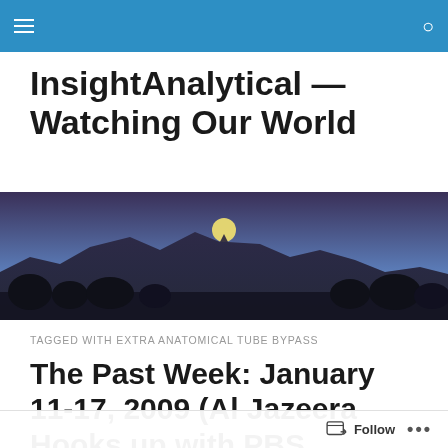InsightAnalytical — Watching Our World (navigation bar)
InsightAnalytical — Watching Our World
[Figure (photo): Twilight landscape photo showing a full moon rising above a mountain range silhouette with trees in the foreground, purple-blue sky]
TAGGED WITH EXTRA ANATOMICAL TUBE BYPASS
The Past Week: January 11-17, 2009 (Al Jazeera Hooks up with PBS, House...
Follow ...